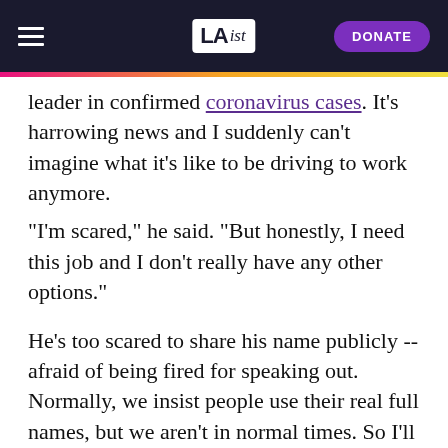LAist — DONATE
leader in confirmed coronavirus cases. It's harrowing news and I suddenly can't imagine what it's like to be driving to work anymore.
"I'm scared," he said. "But honestly, I need this job and I don't really have any other options."
He's too scared to share his name publicly -- afraid of being fired for speaking out. Normally, we insist people use their real full names, but we aren't in normal times. So I'll call him Jack, just for the purpose of telling his story.